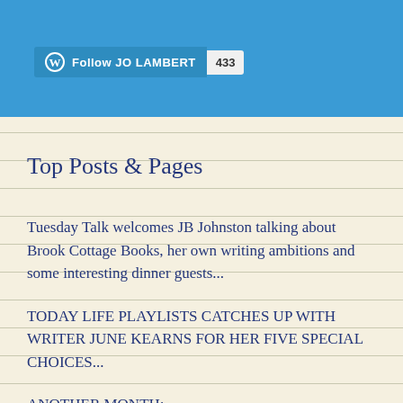Follow JO LAMBERT 433
Top Posts & Pages
Tuesday Talk welcomes JB Johnston talking about Brook Cottage Books, her own writing ambitions and some interesting dinner guests...
TODAY LIFE PLAYLISTS CATCHES UP WITH WRITER JUNE KEARNS FOR HER FIVE SPECIAL CHOICES...
ANOTHER MONTH: REFLECTIONS,CELEBRATIONS AND